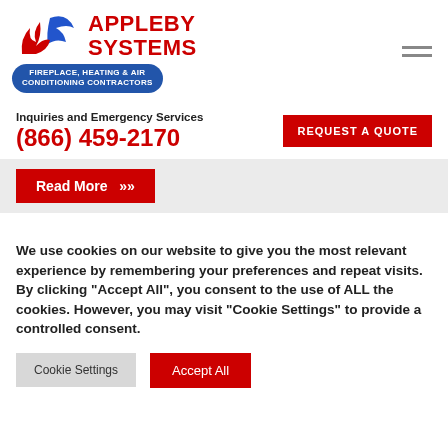[Figure (logo): Appleby Systems logo with red flame and blue swirl icon, red bold text APPLEBY SYSTEMS, blue oval badge reading FIREPLACE, HEATING & AIR CONDITIONING CONTRACTORS]
Inquiries and Emergency Services
(866) 459-2170
REQUEST A QUOTE
Read More »
We use cookies on our website to give you the most relevant experience by remembering your preferences and repeat visits. By clicking “Accept All”, you consent to the use of ALL the cookies. However, you may visit “Cookie Settings” to provide a controlled consent.
Cookie Settings
Accept All